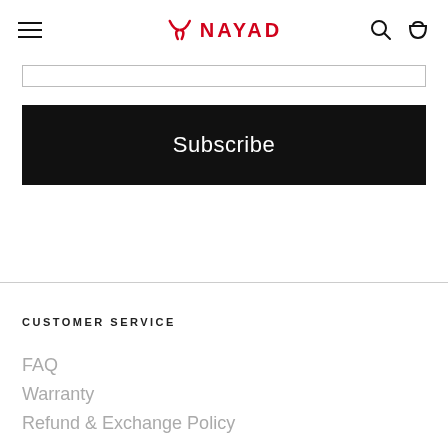NAYAD
Subscribe
CUSTOMER SERVICE
FAQ
Warranty
Refund & Exchange Policy